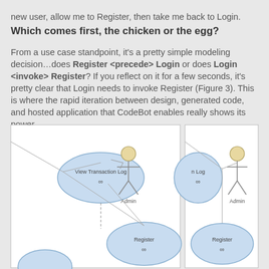new user, allow me to Register, then take me back to Login.
Which comes first, the chicken or the egg?
From a use case standpoint, it's a pretty simple modeling decision…does Register <precede> Login or does Login <invoke> Register? If you reflect on it for a few seconds, it's pretty clear that Login needs to invoke Register (Figure 3). This is where the rapid iteration between design, generated code, and hosted application that CodeBot enables really shows its power.
[Figure (engineering-diagram): Two side-by-side UML use case diagrams showing actors (Admin) and use cases (View Transaction Log with infinity symbol, Register with infinity symbol) connected by lines. Left panel shows View Transaction Log oval connected with dashed line to Register oval. Right panel shows similar layout. Both panels show a stick-figure Admin actor.]